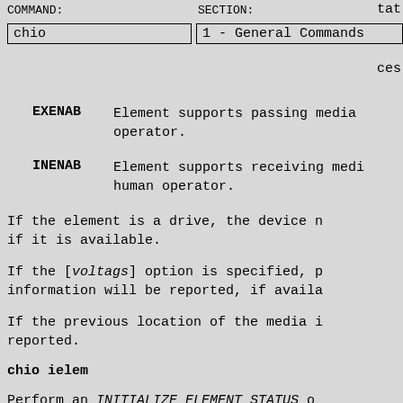COMMAND: chio   SECTION: 1 - General Commands   tate... cess...
EXENAB   Element supports passing media operator.
INENAB   Element supports receiving media human operator.
If the element is a drive, the device r if it is available.
If the [voltags] option is specified, p information will be reported, if availa
If the previous location of the media i reported.
chio ielem
Perform an INITIALIZE ELEMENT STATUS o
chio cdlu <sub-command> <slot>